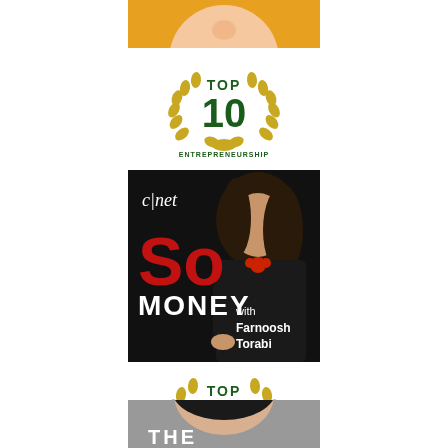[Figure (photo): Cropped top portion of a person's face (chin/nose visible) with an orange/yellow background, partially cut off at the top of the page]
[Figure (logo): Top 10 Entrepreneurship badge with gold laurel wreath, green text reading TOP and ENTREPRENEURSHIP, large dark green number 10]
[Figure (photo): CNET So Money podcast cover image featuring Farnoosh Torabi. Black background with CNET logo top left, large red SO MONEY text on the left, woman in black clothing on the right, white text reading 'with Farnoosh Torabi']
[Figure (logo): Top 100 Business badge with gold laurel wreath, green text reading TOP and BUSINESS, large dark green number 100]
[Figure (photo): Cropped top portion of a person's head/forehead, gray background, partial text 'THE' visible at the bottom, cut off at the bottom of the page]